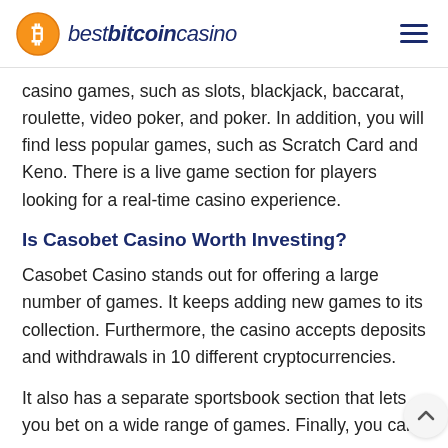bestbitcoincasino
casino games, such as slots, blackjack, baccarat, roulette, video poker, and poker. In addition, you will find less popular games, such as Scratch Card and Keno. There is a live game section for players looking for a real-time casino experience.
Is Casobet Casino Worth Investing?
Casobet Casino stands out for offering a large number of games. It keeps adding new games to its collection. Furthermore, the casino accepts deposits and withdrawals in 10 different cryptocurrencies.
It also has a separate sportsbook section that lets you bet on a wide range of games. Finally, you can